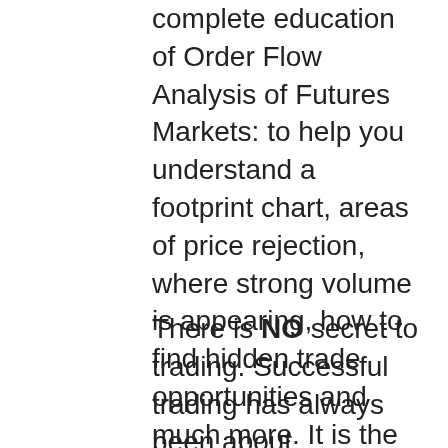complete education of Order Flow Analysis of Futures Markets: to help you understand a footprint chart, areas of price rejection, where strong volume is appearing, how to find hidden trade opportunities and much more. It is the only complete, accurate stand alone course on Order Flow Trading developed by a trader for traders.
There is NO secret to trading. Successful trading has always been about understanding the convictions, the strength and weakness of buyers and sellers. Once you understand what the other traders are doing in the